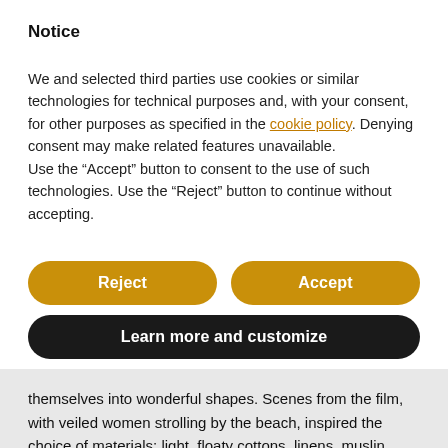Notice
We and selected third parties use cookies or similar technologies for technical purposes and, with your consent, for other purposes as specified in the cookie policy. Denying consent may make related features unavailable.
Use the “Accept” button to consent to the use of such technologies. Use the “Reject” button to continue without accepting.
[Figure (other): Two buttons side by side: 'Reject' (gold/amber rounded button) and 'Accept' (gold/amber rounded button)]
[Figure (other): Full-width black rounded button labeled 'Learn more and customize']
themselves into wonderful shapes. Scenes from the film, with veiled women strolling by the beach, inspired the choice of materials: light, floaty cottons, linens, muslin, voile, silk, used in layers to suggest the movement of the wind. Surprising colour combinations, from ethereal pale pink and colourful stripes down to the darkest and most classic pinstripes refer to the